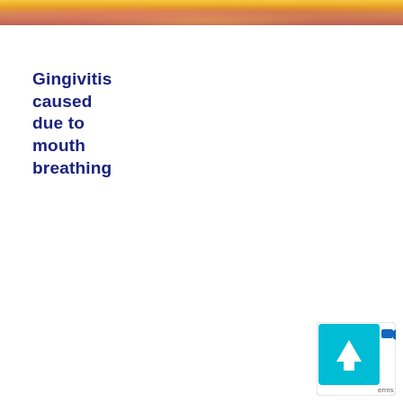[Figure (photo): Close-up photo strip of gum tissue showing gingivitis, with reddish-pink inflamed gums visible against a yellow-toned background, cropped to a narrow horizontal band at the top of the page.]
Gingivitis caused due to mouth breathing
[Figure (other): Scroll-to-top button UI element in the bottom-right corner: a teal/cyan square with an upward-pointing chevron arrow, with a small video camera icon to the right and 'terms' text partially visible.]